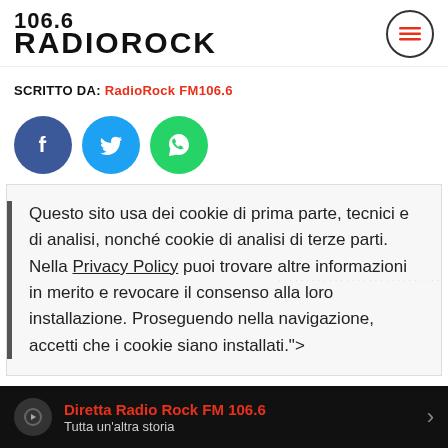[Figure (logo): 106.6 RadioRock logo in black bold text]
SCRITTO DA: RadioRock FM106.6
[Figure (infographic): Social share buttons: Facebook (blue circle), Twitter (light blue circle), WhatsApp (green circle)]
Questo sito usa dei cookie di prima parte, tecnici e di analisi, nonché cookie di analisi di terze parti. Nella Privacy Policy puoi trovare altre informazioni in merito e revocare il consenso alla loro installazione. Proseguendo nella navigazione, accetti che i cookie siano installati.">
Diretta Radio Rock FM 106.6 — Tutta un'altra storia